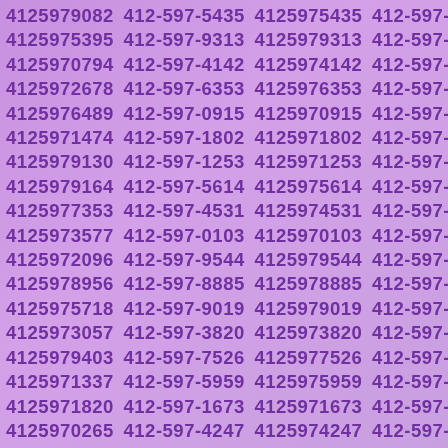4125979082 412-597-5435 4125975435 412-597-5395 4125975395 412-597-9313 4125979313 412-597-0794 4125970794 412-597-4142 4125974142 412-597-2678 4125972678 412-597-6353 4125976353 412-597-6489 4125976489 412-597-0915 4125970915 412-597-1474 4125971474 412-597-1802 4125971802 412-597-9130 4125979130 412-597-1253 4125971253 412-597-9164 4125979164 412-597-5614 4125975614 412-597-7353 4125977353 412-597-4531 4125974531 412-597-3577 4125973577 412-597-0103 4125970103 412-597-2096 4125972096 412-597-9544 4125979544 412-597-8956 4125978956 412-597-8885 4125978885 412-597-5718 4125975718 412-597-9019 4125979019 412-597-3057 4125973057 412-597-3820 4125973820 412-597-9403 4125979403 412-597-7526 4125977526 412-597-1337 4125971337 412-597-5959 4125975959 412-597-1820 4125971820 412-597-1673 4125971673 412-597-0265 4125970265 412-597-4247 4125974247 412-597-3855 4125973855 412-597-7926 4125977926 412-597-8246 4125978246 412-597-5991 4125975991 412-597-6723 4125976723 412-597-3033 4125973033 412-597-...